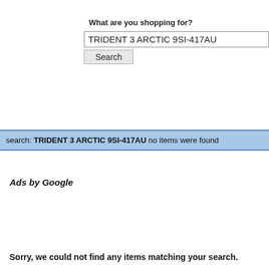What are you shopping for?
TRIDENT 3 ARCTIC 9SI-417AU
Search
search: TRIDENT 3 ARCTIC 9SI-417AU no items were found
Ads by Google
Sorry, we could not find any items matching your search.